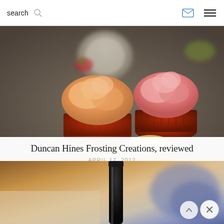search
[Figure (photo): Photograph of frosted cupcakes in red foil liners on a granite countertop. One cupcake has peach/orange frosting (foreground), one has pink frosting (background right). A small tan dish and glass bowl are also visible.]
Duncan Hines Frosting Creations, reviewed
APRIL 17, 2012
[Figure (photo): Photograph of a dark wine/liquor bottle (black top) with blurred blue dishware in the background, on a warm brown surface.]